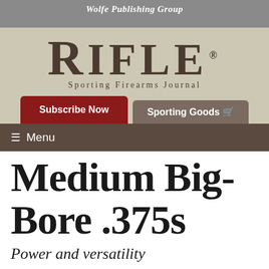Wolfe Publishing Group
[Figure (logo): RIFLE Sporting Firearms Journal logo on beige/tan background]
Subscribe Now
Sporting Goods
Menu
Medium Big-Bore .375s
Power and versatility